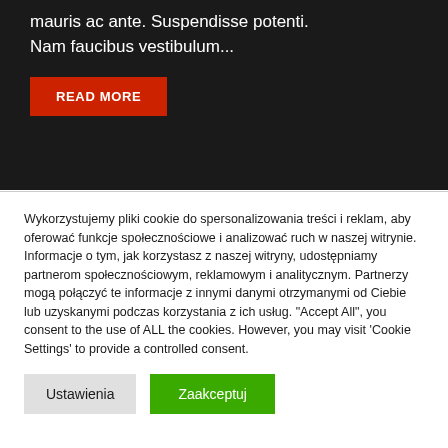mauris ac ante. Suspendisse potenti. Nam faucibus vestibulum...
READ MORE
Wykorzystujemy pliki cookie do spersonalizowania treści i reklam, aby oferować funkcje społecznościowe i analizować ruch w naszej witrynie. Informacje o tym, jak korzystasz z naszej witryny, udostępniamy partnerom społecznościowym, reklamowym i analitycznym. Partnerzy mogą połączyć te informacje z innymi danymi otrzymanymi od Ciebie lub uzyskanymi podczas korzystania z ich usług. "Accept All", you consent to the use of ALL the cookies. However, you may visit 'Cookie Settings' to provide a controlled consent.
Ustawienia
Zaakceptuj